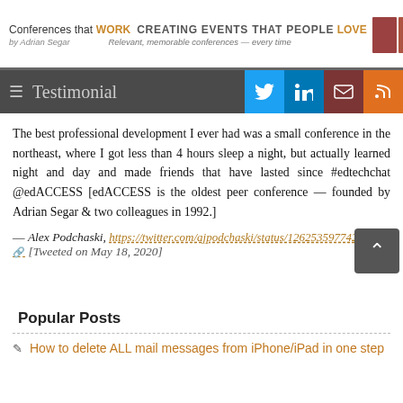Conferences that WORK · CREATING EVENTS THAT PEOPLE LOVE · by Adrian Segar · Relevant, memorable conferences — every time
Testimonial
The best professional development I ever had was a small conference in the northeast, where I got less than 4 hours sleep a night, but actually learned night and day and made friends that have lasted since #edtechchat @edACCESS [edACCESS is the oldest peer conference — founded by Adrian Segar & two colleagues in 1992.]
— Alex Podchaski, https://twitter.com/ajpodchaski/status/12625359774250656 [Tweeted on May 18, 2020]
Popular Posts
How to delete ALL mail messages from iPhone/iPad in one step